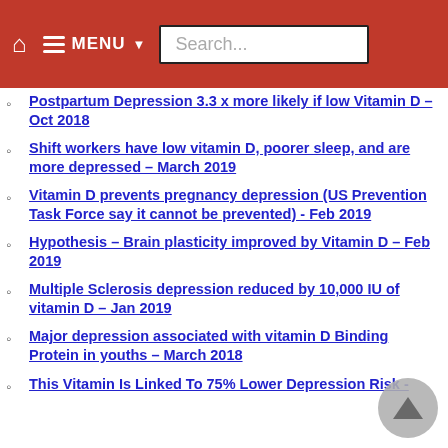Home | MENU | Search...
Postpartum Depression 3.3 x more likely if low Vitamin D – Oct 2018
Shift workers have low vitamin D, poorer sleep, and are more depressed – March 2019
Vitamin D prevents pregnancy depression (US Prevention Task Force say it cannot be prevented) - Feb 2019
Hypothesis – Brain plasticity improved by Vitamin D – Feb 2019
Multiple Sclerosis depression reduced by 10,000 IU of vitamin D – Jan 2019
Major depression associated with vitamin D Binding Protein in youths – March 2018
This Vitamin Is Linked To 75% Lower Depression Risk -